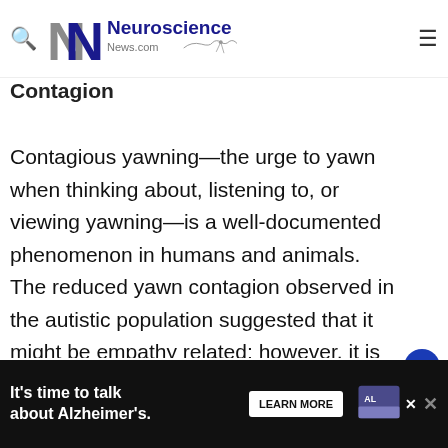[Figure (logo): Neuroscience News.com logo with NN initials and neuron illustration]
Contagion
Contagious yawning—the urge to yawn when thinking about, listening to, or viewing yawning—is a well-documented phenomenon in humans and animals. The reduced yawn contagion observed in the autistic population suggested that it might be empathy related; however, it is unknown whether such a connection applies to nonclinical populations. We examined Influences from the contagion (i.e., trait...
[Figure (other): Alzheimer's awareness advertisement banner: It's time to talk about Alzheimer's. Learn More button and Alzheimer's Association logo.]